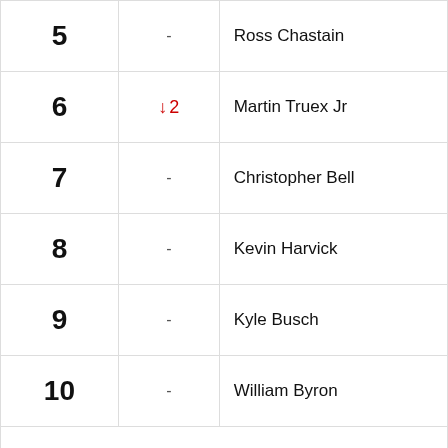| Rank | Change | Driver |
| --- | --- | --- |
| 5 | - | Ross Chastain |
| 6 | ↓ 2 | Martin Truex Jr |
| 7 | - | Christopher Bell |
| 8 | - | Kevin Harvick |
| 9 | - | Kyle Busch |
| 10 | - | William Byron |